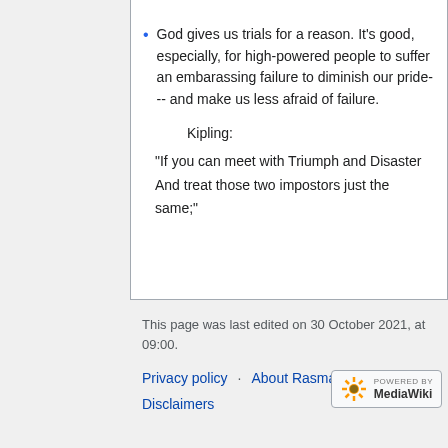God gives us trials for a reason. It's good, especially, for high-powered people to suffer an embarassing failure to diminish our pride--- and make us less afraid of failure.
Kipling:
"If you can meet with Triumph and Disaster
And treat those two impostors just the same;"
This page was last edited on 30 October 2021, at 09:00.
Privacy policy · About Rasmapedia · Disclaimers